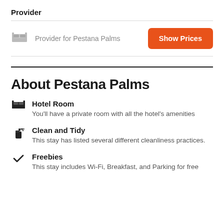Provider
Provider for Pestana Palms
Show Prices
About Pestana Palms
Hotel Room
You'll have a private room with all the hotel's amenities
Clean and Tidy
This stay has listed several different cleanliness practices.
Freebies
This stay includes Wi-Fi, Breakfast, and Parking for free